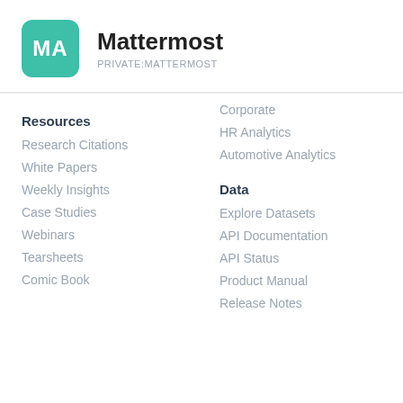[Figure (logo): Teal rounded square logo with white letters MA]
Mattermost
PRIVATE:MATTERMOST
Corporate
HR Analytics
Automotive Analytics
Resources
Research Citations
White Papers
Weekly Insights
Case Studies
Webinars
Tearsheets
Comic Book
Data
Explore Datasets
API Documentation
API Status
Product Manual
Release Notes